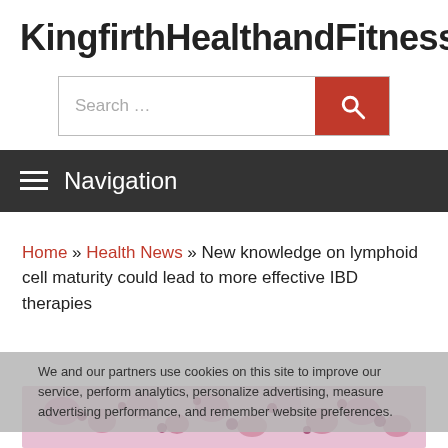KingfirthHealthandFitness
[Figure (screenshot): Search bar with red search button]
Navigation
Home » Health News » New knowledge on lymphoid cell maturity could lead to more effective IBD therapies
We and our partners use cookies on this site to improve our service, perform analytics, personalize advertising, measure advertising performance, and remember website preferences.
[Figure (photo): Microscope image of lymphoid cells stained pink/purple showing cell structures]